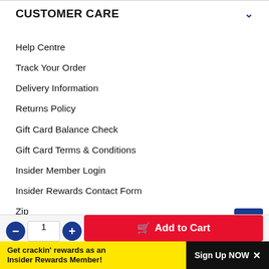CUSTOMER CARE
Help Centre
Track Your Order
Delivery Information
Returns Policy
Gift Card Balance Check
Gift Card Terms & Conditions
Insider Member Login
Insider Rewards Contact Form
Zip
Openpay
Product Safety Recall
GENERAL
Get crackin' rewards as an Insider Rewards Member!
Sign Up NOW ×